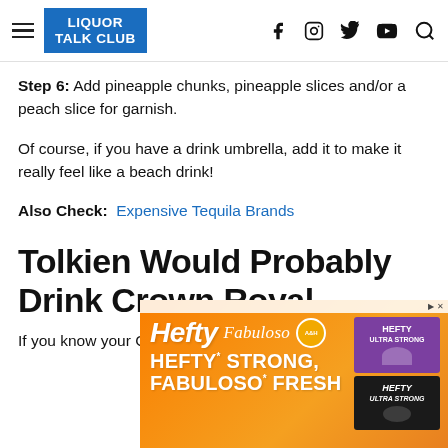LIQUOR TALK CLUB
Step 6: Add pineapple chunks, pineapple slices and/or a peach slice for garnish.
Of course, if you have a drink umbrella, add it to make it really feel like a beach drink!
Also Check:  Expensive Tequila Brands
Tolkien Would Probably Drink Crown Royal
If you know your Canada which, as a proud geography-
[Figure (other): Advertisement banner for Hefty and Fabuloso products. Orange background with Hefty and Fabuloso logos, tagline: HEFTY STRONG, FABULOSO FRESH. Shows product images on right side.]